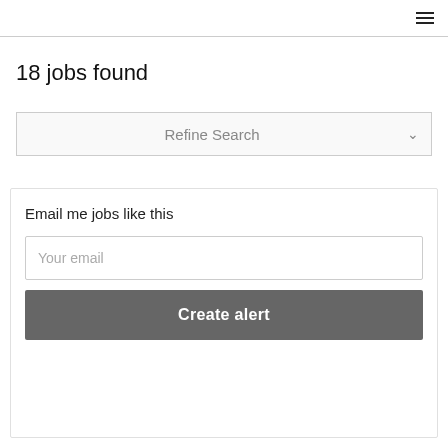☰
18 jobs found
Refine Search
Email me jobs like this
Your email
Create alert